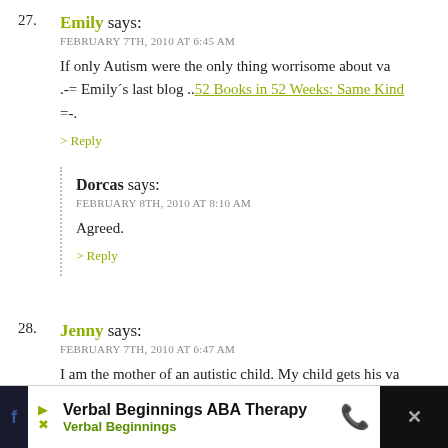27. Emily says: FEBRUARY 7TH, 2010 AT 6:45 AM
If only Autism were the only thing worrisome about va
.-= Emily´s last blog ..52 Books in 52 Weeks: Same Kind =-.
> Reply
Dorcas says: FEBRUARY 8TH, 2010 AT 8:10 AM
Agreed.
> Reply
28. Jenny says: FEBRUARY 7TH, 2010 AT 6:47 AM
I am the mother of an autistic child. My child gets his va should be WELL INFORMED and not let fear and hears
Verbal Beginnings ABA Therapy
Verbal Beginnings